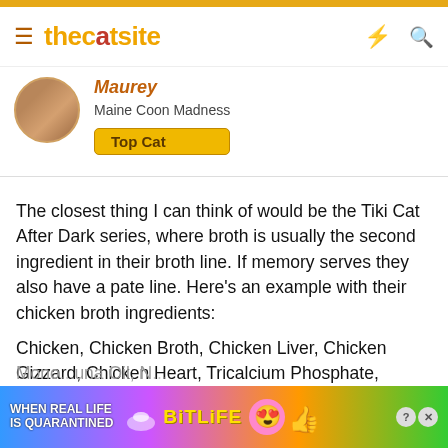thecatsite
Maurey
Maine Coon Madness
Top Cat
The closest thing I can think of would be the Tiki Cat After Dark series, where broth is usually the second ingredient in their broth line. If memory serves they also have a pate line. Here's an example with their chicken broth ingredients:
Chicken, Chicken Broth, Chicken Liver, Chicken Gizzard, Chicken Heart, Tricalcium Phosphate, Potassium Chloride, Choline Chloride, Magnesium Sulfate, Salt, Taurine, Ferrous Sulfate, Thiamine Mono[...] Oil, N[...]